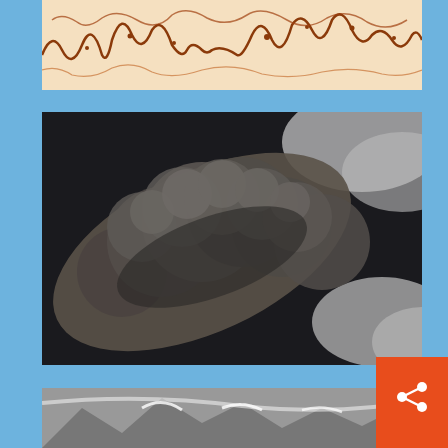[Figure (photo): Seismic or spectrographic waveform image with brown/rust colored signals on a pale orange/cream background, showing irregular wave patterns]
[Figure (photo): Aerial or satellite photograph of a volcanic ash cloud plume, dark grey ash billowing diagonally across a dark sky with white clouds visible at the edges]
[Figure (photo): Aerial or satellite photograph showing snow-covered mountains or glaciers in black and white, partially visible at bottom of page]
[Figure (other): Share button icon (orange background with white share/network icon)]
[Figure (other): Print button icon (orange background with white printer icon)]